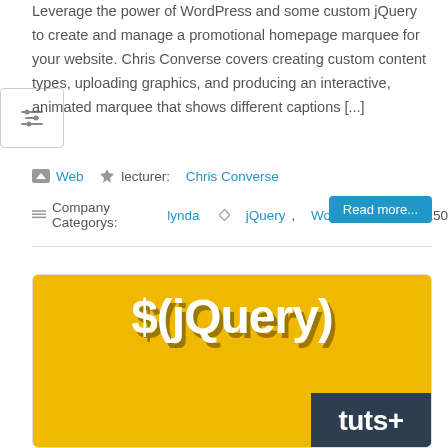Leverage the power of WordPress and some custom jQuery to create and manage a promotional homepage marquee for your website. Chris Converse covers creating custom content types, uploading graphics, and producing an interactive, animated marquee that shows different captions [...]
Web  lecturer: Chris Converse  Company Categorys: lynda  jQuery, WordPress  150
Read more...
[Figure (screenshot): Yellow background promotional image showing '$(jQuery)' text in white with drop shadow, and a dark tuts+ badge in the bottom right corner]